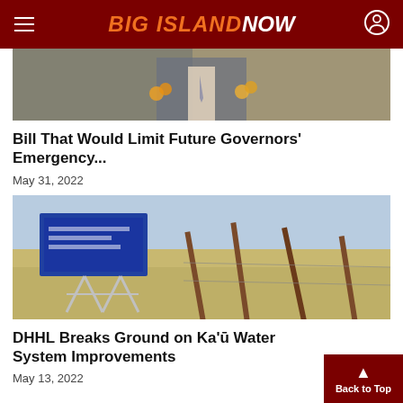BIG ISLAND NOW
[Figure (photo): Partial photo of a person wearing a suit and tie with a yellow flower lei, with greenish-gray texture in background]
Bill That Would Limit Future Governors' Emergency...
May 31, 2022
[Figure (photo): Outdoor scene with a blue sign on a metal frame stand in a dry grassy field with wooden stakes/posts in the foreground]
DHHL Breaks Ground on Kaʻū Water System Improvements
May 13, 2022